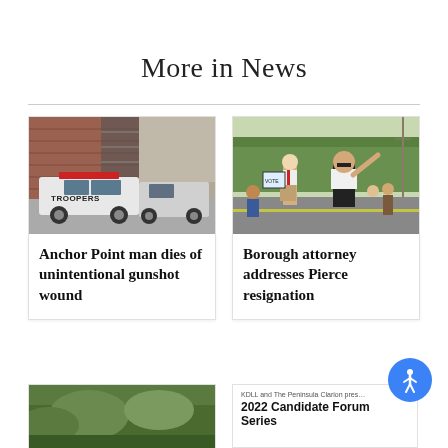More in News
[Figure (photo): Police trooper SUV parked in front of a brick building with exterior stairs]
Anchor Point man dies of unintentional gunshot wound
[Figure (photo): Two people walking in a parade, one waving to the crowd]
Borough attorney addresses Pierce resignation
[Figure (photo): Partial image of trees/greenery at the bottom left]
KDLL and The Peninsula Clarion present 2022 Candidate Forum Series